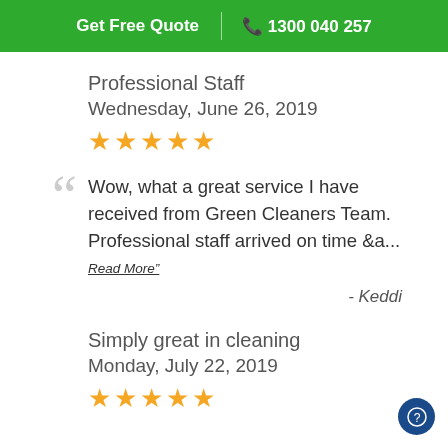Get Free Quote | 1300 040 257
Professional Staff
Wednesday, June 26, 2019
★★★★★
Wow, what a great service I have received from Green Cleaners Team. Professional staff arrived on time &a...
Read More"
- Keddi
Simply great in cleaning
Monday, July 22, 2019
★★★★★